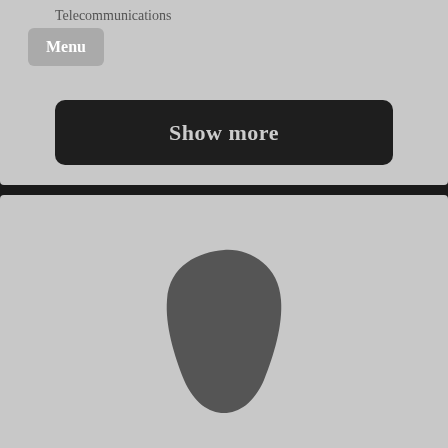Telecommunications
Menu
Show more
[Figure (photo): Gray placeholder profile image with a dark blob/silhouette shape representing a person head and shoulders]